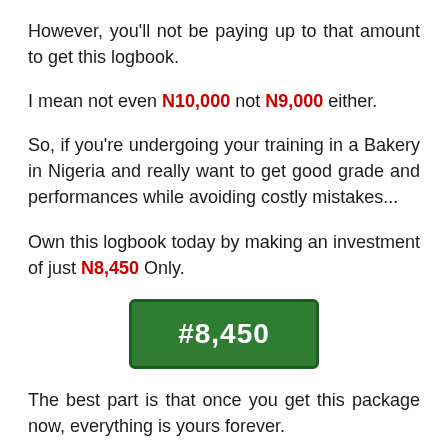However, you'll not be paying up to that amount to get this logbook.
I mean not even N10,000 not N9,000 either.
So, if you're undergoing your training in a Bakery in Nigeria and really want to get good grade and performances while avoiding costly mistakes...
Own this logbook today by making an investment of just N8,450 Only.
[Figure (other): Green button displaying price #8,450]
The best part is that once you get this package now, everything is yours forever.
You can always go back whenever you need help when filling in